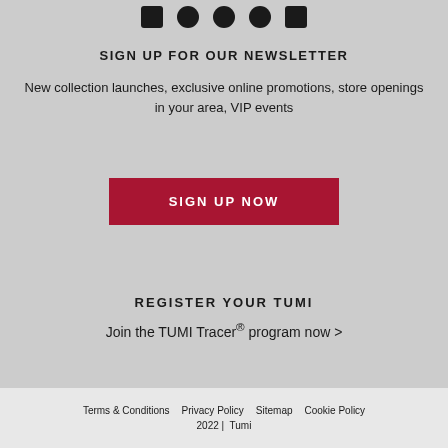[Figure (other): Row of 5 social media icons (Facebook, Instagram, Twitter, Pinterest/globe, YouTube) shown as small dark rounded squares/circles]
SIGN UP FOR OUR NEWSLETTER
New collection launches, exclusive online promotions, store openings in your area, VIP events
[Figure (other): Red button reading SIGN UP NOW]
REGISTER YOUR TUMI
Join the TUMI Tracer® program now >
Terms & Conditions   Privacy Policy   Sitemap   Cookie Policy   2022 |  Tumi